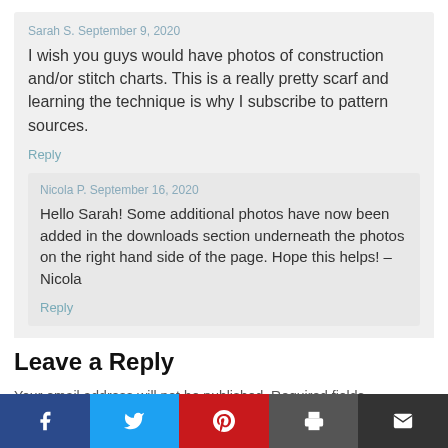Sarah S. September 9, 2020
I wish you guys would have photos of construction and/or stitch charts. This is a really pretty scarf and learning the technique is why I subscribe to pattern sources.
Reply
Nicola P. September 16, 2020
Hello Sarah! Some additional photos have now been added in the downloads section underneath the photos on the right hand side of the page. Hope this helps! – Nicola
Reply
Leave a Reply
Your email address will not be published. Required fields
[Figure (infographic): Social sharing bar with Facebook (blue), Twitter (light blue), Pinterest (red), Print (dark grey), and Email (dark grey) buttons]